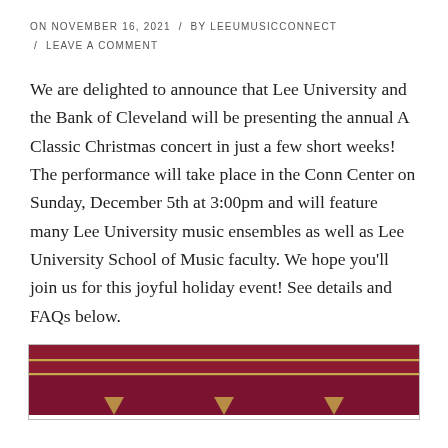ON NOVEMBER 16, 2021 / BY LEEUMUSICCONNECT / LEAVE A COMMENT
We are delighted to announce that Lee University and the Bank of Cleveland will be presenting the annual A Classic Christmas concert in just a few short weeks! The performance will take place in the Conn Center on Sunday, December 5th at 3:00pm and will feature many Lee University music ensembles as well as Lee University School of Music faculty. We hope you'll join us for this joyful holiday event! See details and FAQs below.
[Figure (illustration): Dark maroon/crimson banner graphic with horizontal gold stripes and gold upward-pointing arrow/chevron decorations at the bottom, consistent with a Lee University A Classic Christmas concert promotional image.]